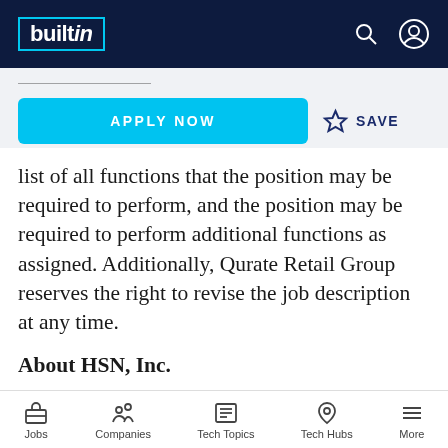builtin (logo navigation bar)
list of all functions that the position may be required to perform, and the position may be required to perform additional functions as assigned. Additionally, Qurate Retail Group reserves the right to revise the job description at any time.
About HSN, Inc.
HSN, Inc., is a leading interactive entertainment and lifestyle retailer,
Jobs  Companies  Tech Topics  Tech Hubs  More